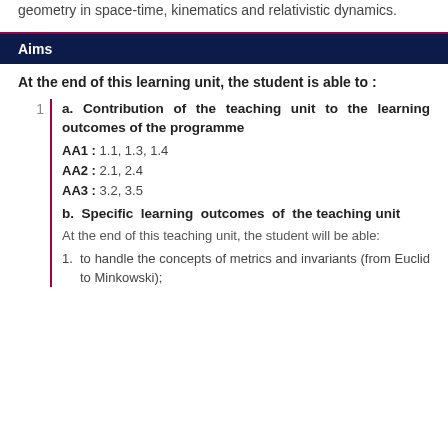geometry in space-time, kinematics and relativistic dynamics.
Aims
At the end of this learning unit, the student is able to :
1. a. Contribution of the teaching unit to the learning outcomes of the programme
AA1 : 1.1, 1.3, 1.4
AA2 : 2.1, 2.4
AA3 : 3.2, 3.5
b. Specific learning outcomes of the teaching unit
At the end of this teaching unit, the student will be able:
1. to handle the concepts of metrics and invariants (from Euclid to Minkowski);